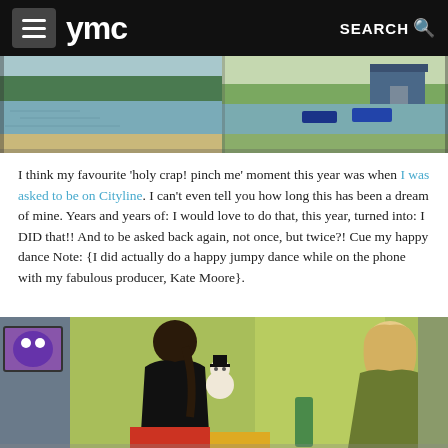ymc  SEARCH
[Figure (photo): Two landscape/nature photos side by side: left shows a river or lake with trees in background, right shows a dock or marina with a small blue shed and boats]
I think my favourite 'holy crap! pinch me' moment this year was when I was asked to be on Cityline. I can't even tell you how long this has been a dream of mine. Years and years of: I would love to do that, this year, turned into: I DID that!! And to be asked back again, not once, but twice?! Cue my happy dance Note: {I did actually do a happy jumpy dance while on the phone with my fabulous producer, Kate Moore}.
[Figure (photo): Two women on a TV set with green wall background. A dark-haired woman in black holds a snowman decoration; a blonde woman in olive/green dress stands to the right smiling. A TV screen and holiday decorations visible.]